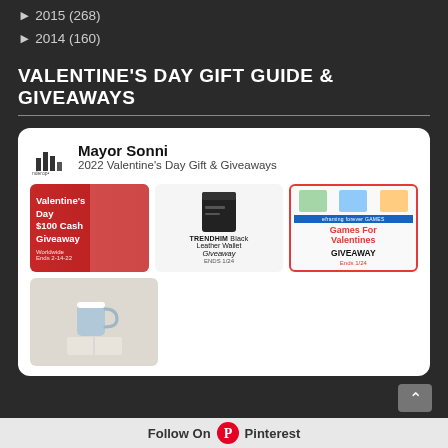► 2015 (268)
► 2014 (160)
VALENTINE'S DAY GIFT GUIDE & GIVEAWAYS
[Figure (infographic): Card with Mayor Sonni logo, title '2022 Valentine's Day Gift & Giveaways', and three product images: Valentine's Day $100 Cash Giveaway, TRENDHIM Black Leather Wallet Giveaway, and Games For Valentines GIVEAWAY. A fourth image shows a mug on a book.]
Follow On Pinterest